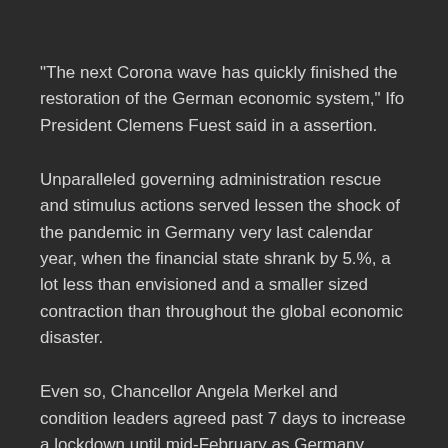“The next Corona wave has quickly finished the restoration of the German economic system,” Ifo President Clemens Fuest said in a assertion.
Unparalleled governing administration rescue and stimulus actions served lessen the shock of the pandemic in Germany very last calendar year, when the financial state shrank by 5.%, a lot less than envisioned and a smaller sized contraction than throughout the global economic disaster.
Even so, Chancellor Angela Merkel and condition leaders agreed past 7 days to increase a lockdown until mid-February as Germany, when witnessed as a function product for combating the pandemic, struggles with a